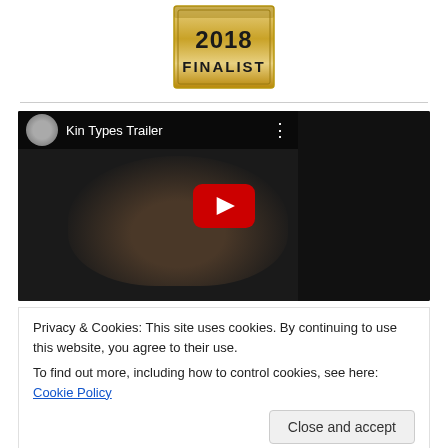[Figure (logo): 2018 Finalist badge/seal with gold metallic ribbon design]
[Figure (screenshot): YouTube video embed showing 'Kin Types Trailer' with a dark background, a person's face, and a red play button]
Privacy & Cookies: This site uses cookies. By continuing to use this website, you agree to their use.
To find out more, including how to control cookies, see here: Cookie Policy
Close and accept
families which settled in southwestern Michigan. It also occasionally